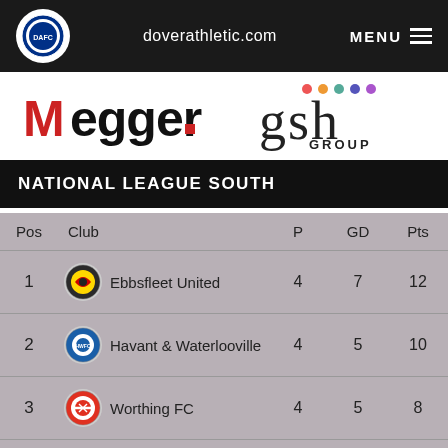doverathletic.com
[Figure (logo): Megger sponsor logo in red and black]
[Figure (logo): GSH Group sponsor logo with coloured dots]
NATIONAL LEAGUE SOUTH
| Pos | Club | P | GD | Pts |
| --- | --- | --- | --- | --- |
| 1 | Ebbsfleet United | 4 | 7 | 12 |
| 2 | Havant & Waterlooville | 4 | 5 | 10 |
| 3 | Worthing FC | 4 | 5 | 8 |
| 4 | Chelmsford City | 3 | 4 | 7 |
| 5 | Dover Athletic | 5 | 2 | 7 |